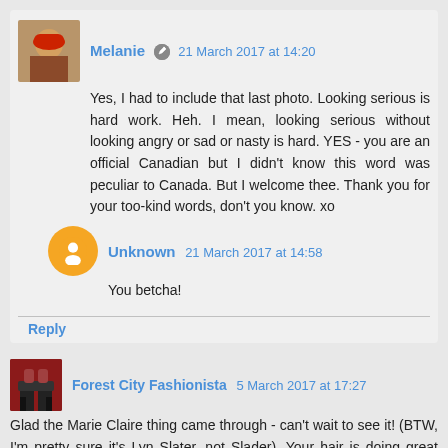Melanie 21 March 2017 at 14:20
Yes, I had to include that last photo. Looking serious is hard work. Heh. I mean, looking serious without looking angry or sad or nasty is hard. YES - you are an official Canadian but I didn't know this word was peculiar to Canada. But I welcome thee. Thank you for your too-kind words, don't you know. xo
Unknown 21 March 2017 at 14:58
You betcha!
Reply
Forest City Fashionista 5 March 2017 at 17:27
Glad the Marie Claire thing came through - can't wait to see it! (BTW, I'm pretty sure it's Lyn Slater, not Slader). Your hair is doing great things lately - I'm envious. You are